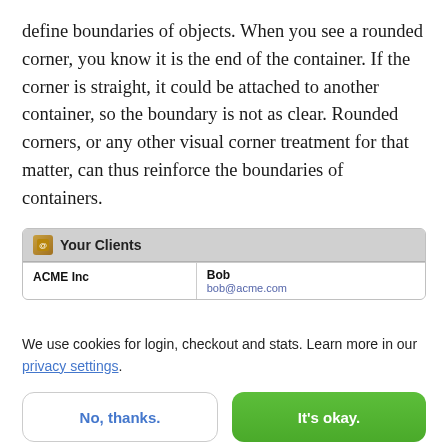define boundaries of objects. When you see a rounded corner, you know it is the end of the container. If the corner is straight, it could be attached to another container, so the boundary is not as clear. Rounded corners, or any other visual corner treatment for that matter, can thus reinforce the boundaries of containers.
[Figure (screenshot): A UI screenshot showing a 'Your Clients' panel with a gold icon, a header row, and one data row listing 'ACME Inc' with contact 'Bob' and email 'bob@acme.com'.]
We use cookies for login, checkout and stats. Learn more in our privacy settings.
No, thanks.
It's okay.